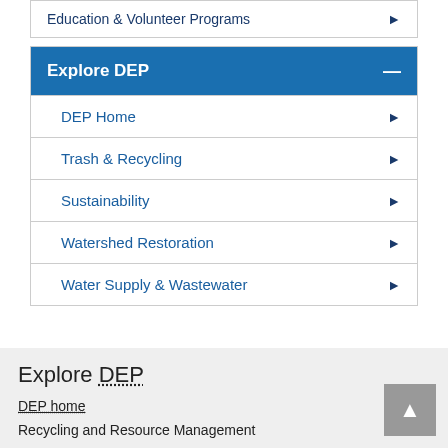Education & Volunteer Programs
Explore DEP
DEP Home
Trash & Recycling
Sustainability
Watershed Restoration
Water Supply & Wastewater
Explore DEP
DEP home
Recycling and Resource Management